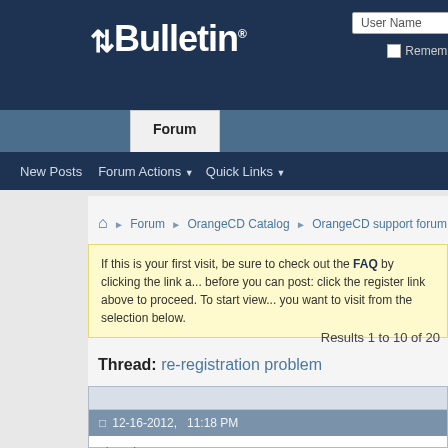[Figure (screenshot): vBulletin forum header with logo on dark navy background, User Name input box top right]
Forum | New Posts | Forum Actions | Quick Links
Forum ❯ OrangeCD Catalog ❯ OrangeCD support forum ❯ re-
If this is your first visit, be sure to check out the FAQ by clicking the link a... before you can post: click the register link above to proceed. To start view... you want to visit from the selection below.
Results 1 to 10 of 20
Thread: re-registration problem
12-16-2012,   11:18 PM
dmarkun
Junior Member
re-registration problem
I've installed OrangeCD on a new computer with win7 (for first use...